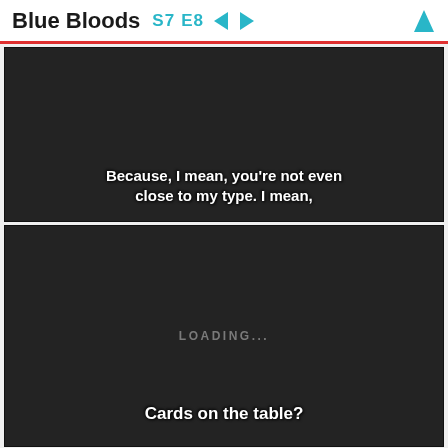Blue Bloods S7 E8 ← → ↑
[Figure (screenshot): Dark video frame with subtitle text: Because, I mean, you're not even close to my type. I mean,]
[Figure (screenshot): Dark video frame showing LOADING... text in center and subtitle: Cards on the table?]